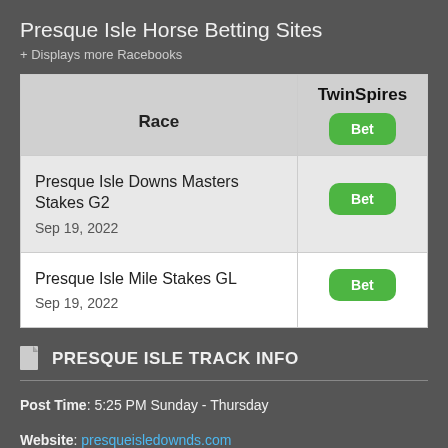Presque Isle Horse Betting Sites
+ Displays more Racebooks
| Race | TwinSpires |
| --- | --- |
| Presque Isle Downs Masters Stakes G2
Sep 19, 2022 | Bet |
| Presque Isle Mile Stakes GL
Sep 19, 2022 | Bet |
PRESQUE ISLE TRACK INFO
Post Time: 5:25 PM Sunday - Thursday
Website: presqueisledownds.com